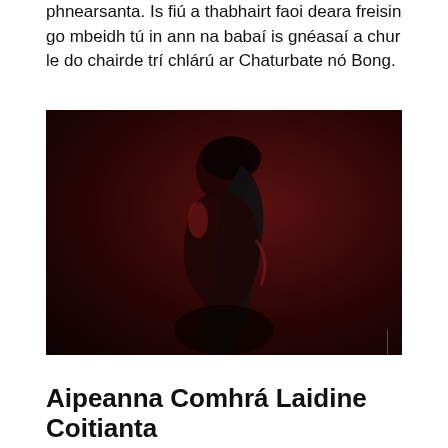phnearsanta. Is fiu a thabhairt faoi deara freisin go mbeidh tú in ann na babaí is gnéasaí a chur le do chairde trí chlárú ar Chaturbate nó Bong.
[Figure (photo): Studio photo of a woman posing against a dark red background, wearing a black top and red bottom, with dramatic lighting.]
Aipeanna Comhrá Laidine Coitianta